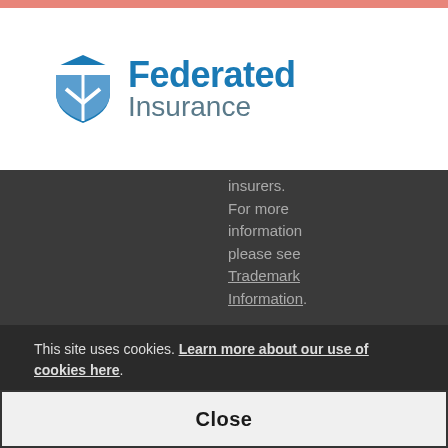[Figure (logo): Federated Insurance logo with shield icon in blue and text 'Federated Insurance']
insurers. For more information please see Trademark Information.
Federated and Federated Insurance
This site uses cookies. Learn more about our use of cookies here.
Close